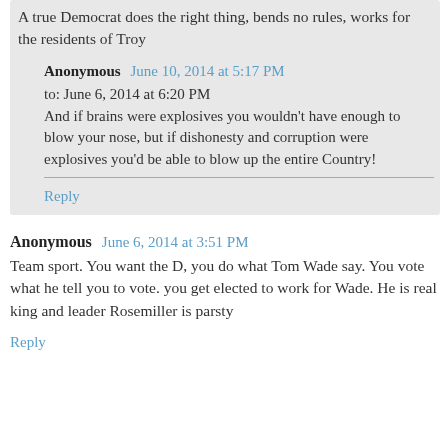A true Democrat does the right thing, bends no rules, works for the residents of Troy
Anonymous  June 10, 2014 at 5:17 PM
to: June 6, 2014 at 6:20 PM
And if brains were explosives you wouldn't have enough to blow your nose, but if dishonesty and corruption were explosives you'd be able to blow up the entire Country!
Reply
Anonymous  June 6, 2014 at 3:51 PM
Team sport. You want the D, you do what Tom Wade say. You vote what he tell you to vote. you get elected to work for Wade. He is real king and leader Rosemiller is parsty
Reply